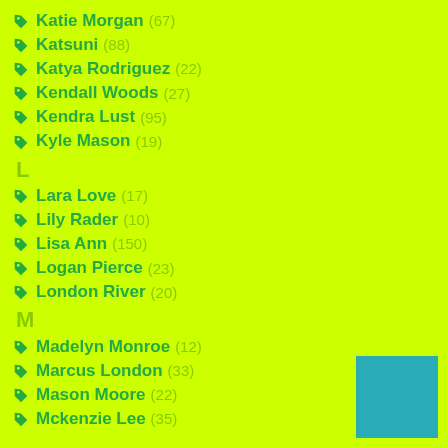Katie Morgan (67)
Katsuni (88)
Katya Rodriguez (22)
Kendall Woods (27)
Kendra Lust (95)
Kyle Mason (19)
L
Lara Love (17)
Lily Rader (10)
Lisa Ann (150)
Logan Pierce (23)
London River (20)
M
Madelyn Monroe (12)
Marcus London (33)
Mason Moore (22)
Mckenzie Lee (35)
[Figure (other): Teal/cyan colored square block in bottom right corner]